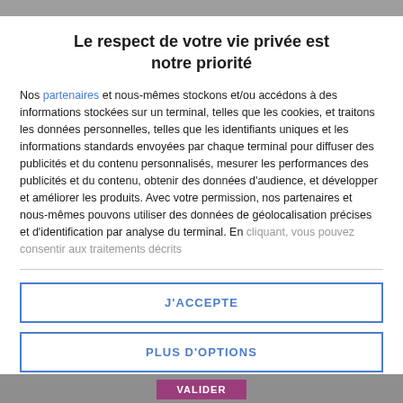Le respect de votre vie privée est notre priorité
Nos partenaires et nous-mêmes stockons et/ou accédons à des informations stockées sur un terminal, telles que les cookies, et traitons les données personnelles, telles que les identifiants uniques et les informations standards envoyées par chaque terminal pour diffuser des publicités et du contenu personnalisés, mesurer les performances des publicités et du contenu, obtenir des données d'audience, et développer et améliorer les produits. Avec votre permission, nos partenaires et nous-mêmes pouvons utiliser des données de géolocalisation précises et d'identification par analyse du terminal. En cliquant, vous pouvez consentir aux traitements décrits
J'ACCEPTE
PLUS D'OPTIONS
VALIDER